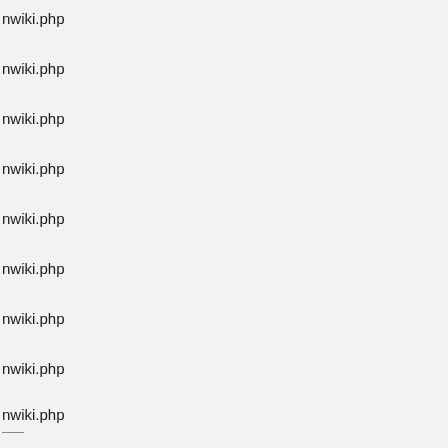nwiki.php
nwiki.php
nwiki.php
nwiki.php
nwiki.php
nwiki.php
nwiki.php
nwiki.php
nwiki.php